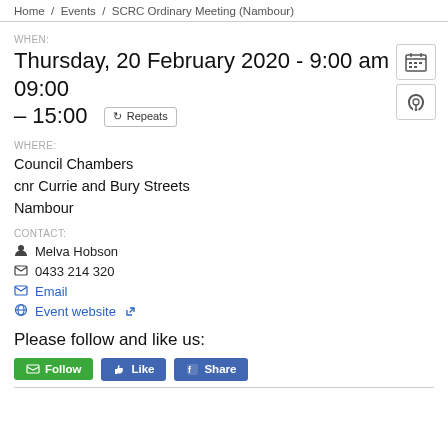Home / Events / SCRC Ordinary Meeting (Nambour)
WHEN:
Thursday, 20 February 2020 - 9:00 am @ 09:00 – 15:00  Repeats
WHERE:
Council Chambers
cnr Currie and Bury Streets
Nambour
CONTACT:
Melva Hobson
0433 214 320
Email
Event website
Please follow and like us: